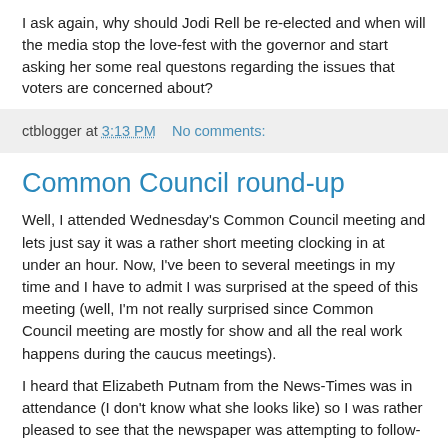I ask again, why should Jodi Rell be re-elected and when will the media stop the love-fest with the governor and start asking her some real questons regarding the issues that voters are concerned about?
ctblogger at 3:13 PM   No comments:
Common Council round-up
Well, I attended Wednesday's Common Council meeting and lets just say it was a rather short meeting clocking in at under an hour. Now, I've been to several meetings in my time and I have to admit I was surprised at the speed of this meeting (well, I'm not really surprised since Common Council meeting are mostly for show and all the real work happens during the caucus meetings).
I heard that Elizabeth Putnam from the News-Times was in attendance (I don't know what she looks like) so I was rather pleased to see that the newspaper was attempting to follow-